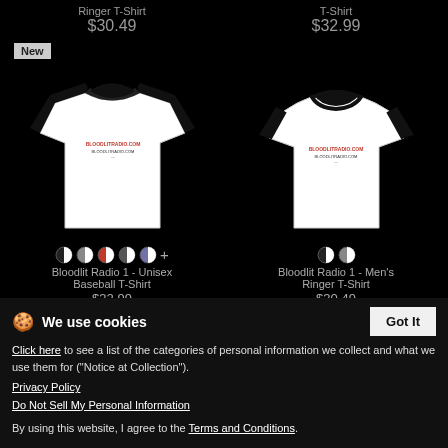Ringer T-Shirt
$30.49
T-Shirt
$32.99
[Figure (photo): Unisex baseball T-shirt white with black sleeves, Bloodlit Radio logo on front. 'New' badge in top left.]
[Figure (photo): Men's Ringer T-Shirt white with black collar and sleeve cuffs, Bloodlit Radio logo on front.]
Bloodlit Radio 1 - Unisex Baseball T-Shirt
$32.99
Bloodlit Radio 1 - Men's Ringer T-Shirt
$30.49
We use cookies
Click here to see a list of the categories of personal information we collect and what we use them for ("Notice at Collection").
Privacy Policy
Do Not Sell My Personal Information
By using this website, I agree to the Terms and Conditions.